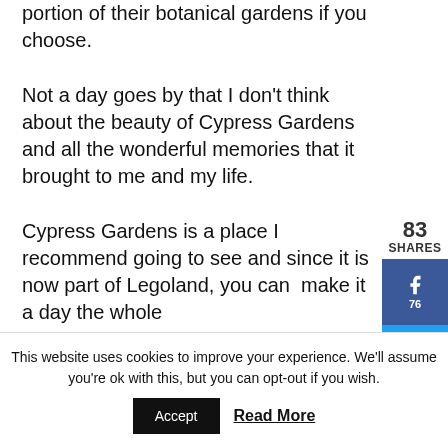portion of their botanical gardens if you choose.
Not a day goes by that I don't think about the beauty of Cypress Gardens and all the wonderful memories that it brought to me and my life.
Cypress Gardens is a place I recommend going to see and since it is now part of Legoland, you can  make it a day the whole
83 SHARES
76
7
This website uses cookies to improve your experience. We'll assume you're ok with this, but you can opt-out if you wish.
Accept
Read More